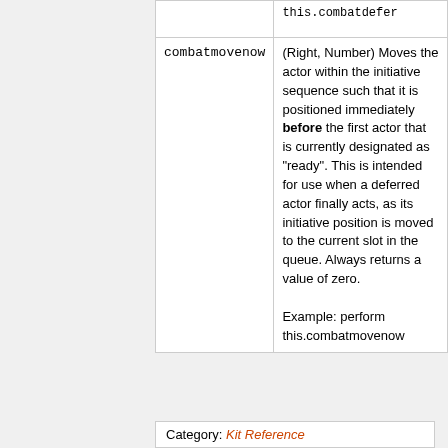|  |  |
| --- | --- |
|  | this.combatdefer |
| combatmovenow | (Right, Number) Moves the actor within the initiative sequence such that it is positioned immediately before the first actor that is currently designated as "ready". This is intended for use when a deferred actor finally acts, as its initiative position is moved to the current slot in the queue. Always returns a value of zero.

Example: perform this.combatmovenow |
Category: Kit Reference